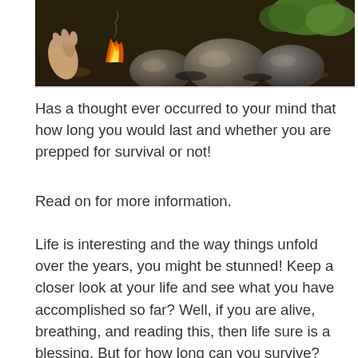[Figure (photo): A person's hand tending to a campfire surrounded by large rocks, with greenery visible in the background, set in a woodland/outdoor survival setting.]
Has a thought ever occurred to your mind that how long you would last and whether you are prepped for survival or not!
Read on for more information.
Life is interesting and the way things unfold over the years, you might be stunned! Keep a closer look at your life and see what you have accomplished so far? Well, if you are alive, breathing, and reading this, then life sure is a blessing. But for how long can you survive?